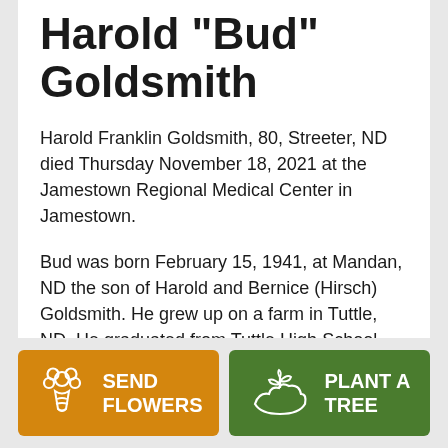Harold "Bud" Goldsmith
Harold Franklin Goldsmith, 80, Streeter, ND died Thursday November 18, 2021 at the Jamestown Regional Medical Center in Jamestown.
Bud was born February 15, 1941, at Mandan, ND the son of Harold and Bernice (Hirsch) Goldsmith. He grew up on a farm in Tuttle, ND. He graduated from Tuttle High School June, 1958 and joined the US Navy in July.
[Figure (illustration): Orange button with flower bouquet icon labeled SEND FLOWERS]
[Figure (illustration): Green button with plant/tree icon labeled PLANT A TREE]